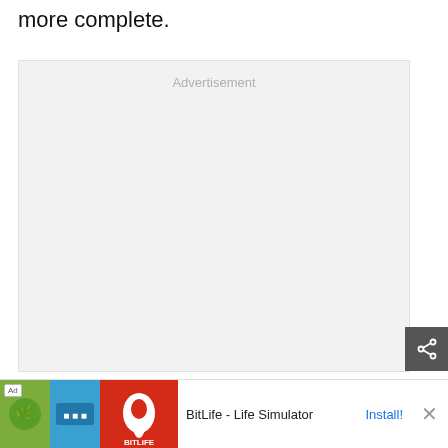more complete.
[Figure (other): Advertisement placeholder box with light gray background and 'Advertisement' label centered at top]
The full conversation can be found on Reddit
[Figure (other): Mobile ad banner for BitLife - Life Simulator app, showing green, blue and red app icon panels, 'Ad' tag, app name, Install! button and close X button]